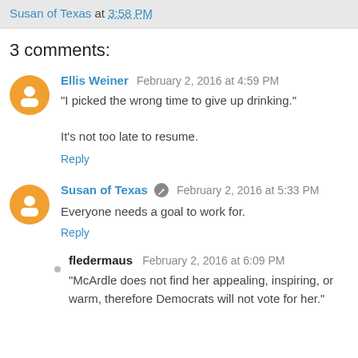Susan of Texas at 3:58 PM
3 comments:
Ellis Weiner February 2, 2016 at 4:59 PM
"I picked the wrong time to give up drinking."

It's not too late to resume.
Reply
Susan of Texas February 2, 2016 at 5:33 PM
Everyone needs a goal to work for.
Reply
fledermaus February 2, 2016 at 6:09 PM
"McArdle does not find her appealing, inspiring, or warm, therefore Democrats will not vote for her."